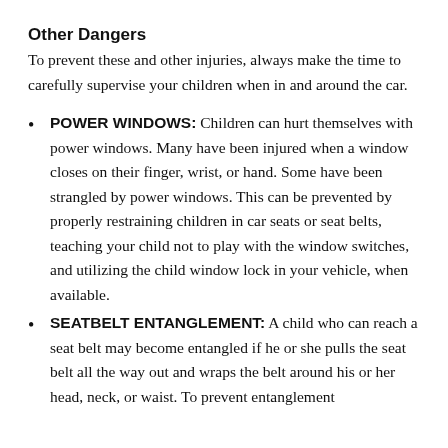Other Dangers
To prevent these and other injuries, always make the time to carefully supervise your children when in and around the car.
POWER WINDOWS: Children can hurt themselves with power windows. Many have been injured when a window closes on their finger, wrist, or hand. Some have been strangled by power windows. This can be prevented by properly restraining children in car seats or seat belts, teaching your child not to play with the window switches, and utilizing the child window lock in your vehicle, when available.
SEATBELT ENTANGLEMENT: A child who can reach a seat belt may become entangled if he or she pulls the seat belt all the way out and wraps the belt around his or her head, neck, or waist. To prevent entanglement